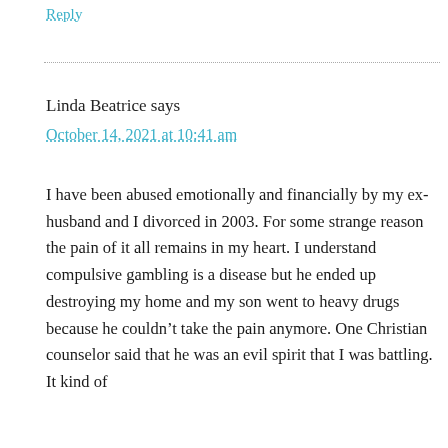Reply
Linda Beatrice says
October 14, 2021 at 10:41 am
I have been abused emotionally and financially by my ex-husband and I divorced in 2003. For some strange reason the pain of it all remains in my heart. I understand compulsive gambling is a disease but he ended up destroying my home and my son went to heavy drugs because he couldn't take the pain anymore. One Christian counselor said that he was an evil spirit that I was battling. It kind of